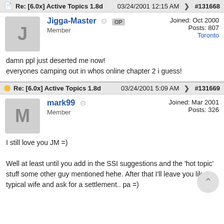Re: [6.0x] Active Topics 1.8d   03/24/2001 12:15 AM   #131668
Jigga-Master  OP
Member
Joined: Oct 2000
Posts: 807
Toronto
damn ppl just deserted me now!
everyones camping out in whos online chapter 2 i guess!
Re: [6.0x] Active Topics 1.8d   03/24/2001 5:09 AM   #131669
mark99
Member
Joined: Mar 2001
Posts: 326
I still love you JM =)

Well at least until you add in the SSI suggestions and the 'hot topic' stuff some other guy mentioned hehe. After that I'll leave you like a typical wife and ask for a settlement.. pa =)